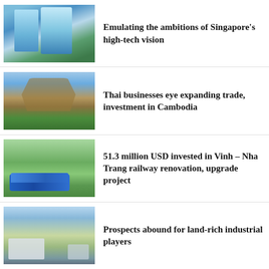[Figure (photo): Singapore high-tech glass skyscraper buildings with green trees]
Emulating the ambitions of Singapore’s high-tech vision
[Figure (photo): Cambodian temple gate with blue sky and green trees]
Thai businesses eye expanding trade, investment in Cambodia
[Figure (photo): Blue train on railway track surrounded by green hillside vegetation]
51.3 million USD invested in Vinh – Nha Trang railway renovation, upgrade project
[Figure (photo): Aerial view of industrial buildings and land]
Prospects abound for land-rich industrial players